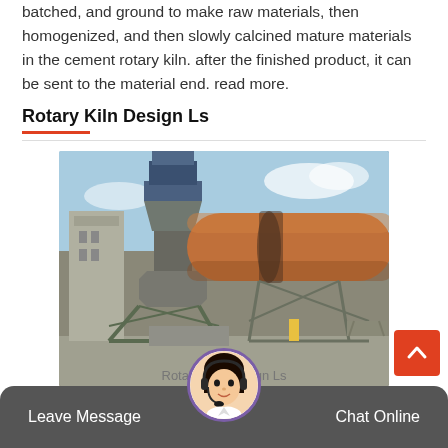batched, and ground to make raw materials, then homogenized, and then slowly calcined mature materials in the cement rotary kiln. after the finished product, it can be sent to the material end. read more.
Rotary Kiln Design Ls
[Figure (photo): Industrial cement rotary kiln facility showing a large cylindrical rotary kiln tube extending diagonally, with a crusher or preheater tower structure on the left, metal scaffolding and support structures, photographed outdoors under a partly cloudy sky.]
Rotary Kiln Design Ls
Leave Message   Chat Online